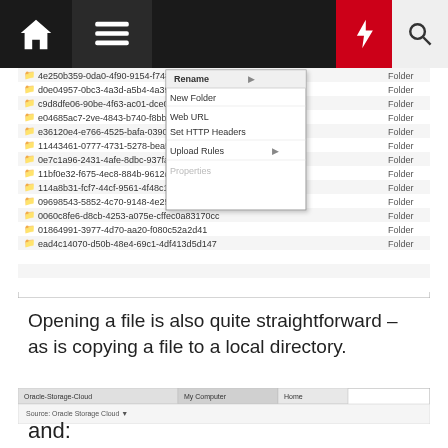Navigation bar with home, menu, bolt, and search icons
[Figure (screenshot): Windows file explorer context menu showing options: Rename, New Folder, Web URL, Set HTTP Headers, Upload Rules, Properties. List of folder items with GUIDs visible.]
Opening a file is also quite straightforward – as is copying a file to a local directory.
[Figure (screenshot): CloudBerry Explorer for OpenStack Storage file manager showing a context menu with options: Open, Refresh, Search, Copy, Move, Delete, Rename, New Folder, Web URL, Set HTTP Headers, Upload Rules, Properties. A dialog box asks: Do you really want to open [server.out.zip]? with Yes and No buttons.]
and: